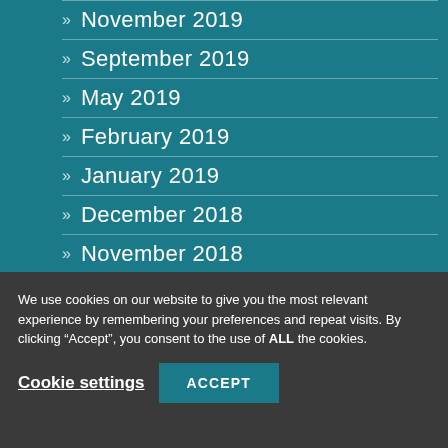» November 2019
» September 2019
» May 2019
» February 2019
» January 2019
» December 2018
» November 2018
» October 2018
» August 2018
We use cookies on our website to give you the most relevant experience by remembering your preferences and repeat visits. By clicking “Accept”, you consent to the use of ALL the cookies.
Cookie settings
ACCEPT